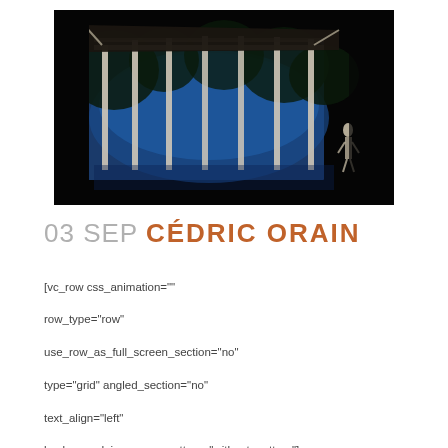[Figure (photo): Theatrical stage set with a wooden pergola/pavilion structure. Blue-lit projection of trees visible through the frame, dark background, small human figure standing to the right.]
03 SEP CÉDRIC ORAIN
[vc_row css_animation=""
row_type="row"
use_row_as_full_screen_section="no"
type="grid" angled_section="no"
text_align="left"
background_image_as_pattern="without_pattern"]
[vc_column][vc_separator